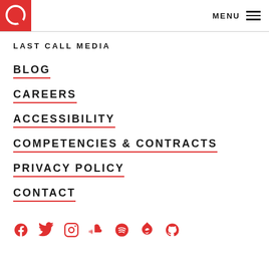MENU
LAST CALL MEDIA
BLOG
CAREERS
ACCESSIBILITY
COMPETENCIES & CONTRACTS
PRIVACY POLICY
CONTACT
[Figure (illustration): Social media icons row: Facebook, Twitter, Instagram, SoundCloud, Spotify, Drupal, GitHub — all in red]